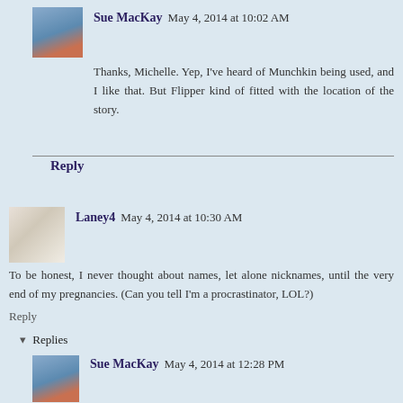Sue MacKay  May 4, 2014 at 10:02 AM
Thanks, Michelle. Yep, I've heard of Munchkin being used, and I like that. But Flipper kind of fitted with the location of the story.
Reply
Laney4  May 4, 2014 at 10:30 AM
To be honest, I never thought about names, let alone nicknames, until the very end of my pregnancies. (Can you tell I'm a procrastinator, LOL?)
Reply
▾ Replies
Sue MacKay  May 4, 2014 at 12:28 PM
Laney, I'm not sure how people can be so sure about the name for their child until they get to see her/him